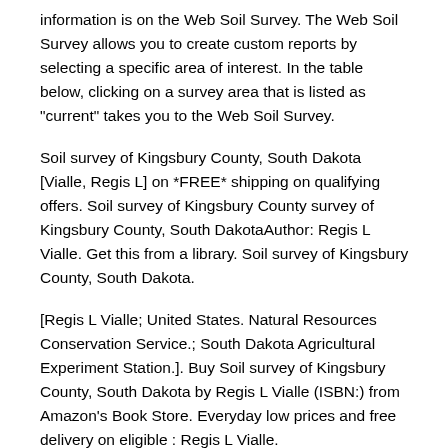information is on the Web Soil Survey. The Web Soil Survey allows you to create custom reports by selecting a specific area of interest. In the table below, clicking on a survey area that is listed as "current" takes you to the Web Soil Survey.
Soil survey of Kingsbury County, South Dakota [Vialle, Regis L] on *FREE* shipping on qualifying offers. Soil survey of Kingsbury County survey of Kingsbury County, South DakotaAuthor: Regis L Vialle. Get this from a library. Soil survey of Kingsbury County, South Dakota.
[Regis L Vialle; United States. Natural Resources Conservation Service.; South Dakota Agricultural Experiment Station.]. Buy Soil survey of Kingsbury County, South Dakota by Regis L Vialle (ISBN:) from Amazon's Book Store. Everyday low prices and free delivery on eligible : Regis L Vialle.
Buy Soil survey of Kingsbury County, South Dakota (SuDoc A /K 61) by Vialle, Regis L. (ISBN:) from Amazon's Book Store. Everyday low prices and free delivery on eligible : Regis L. Vialle. South Dakota Soil Surveys and Maps. To request surveys or to find web soil surveys